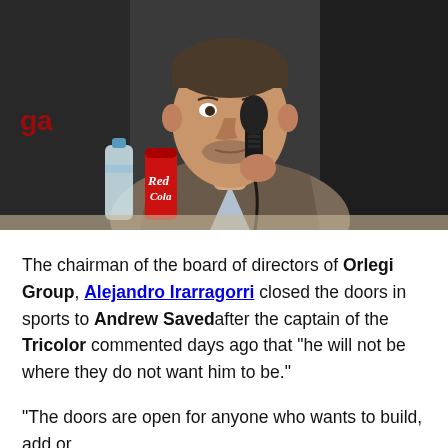[Figure (photo): A man in a plaid blazer speaking into a black microphone at a press conference. A water bottle and a Red Cola can are visible on the table in front of him. The background is dark.]
The chairman of the board of directors of Orlegi Group, Alejandro Irarragorri closed the doors in sports to Andrew Savedafter the captain of the Tricolor commented days ago that “he will not be where they do not want him to be.”
“The doors are open for anyone who wants to build, add or